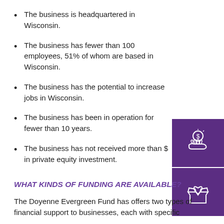The business is headquartered in Wisconsin.
The business has fewer than 100 employees, 51% of whom are based in Wisconsin.
The business has the potential to increase jobs in Wisconsin.
The business has been in operation for fewer than 10 years.
The business has not received more than $ in private equity investment.
[Figure (illustration): Two purple icon boxes: top shows a hand holding a coin with dollar sign, bottom shows a heart inside an open box]
WHAT KINDS OF FUNDING ARE AVAILABLE?
The Doyenne Evergreen Fund has offers two types of financial support to businesses, each with specific